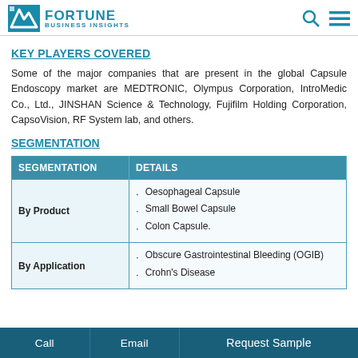FORTUNE BUSINESS INSIGHTS
KEY PLAYERS COVERED
Some of the major companies that are present in the global Capsule Endoscopy market are MEDTRONIC, Olympus Corporation, IntroMedic Co., Ltd., JINSHAN Science & Technology, Fujifilm Holding Corporation, CapsoVision, RF System lab, and others.
SEGMENTATION
| SEGMENTATION | DETAILS |
| --- | --- |
| By Product | · Oesophageal Capsule
· Small Bowel Capsule
· Colon Capsule. |
| By Application | · Obscure Gastrointestinal Bleeding (OGIB)
· Crohn's Disease |
Call  Email  Request Sample